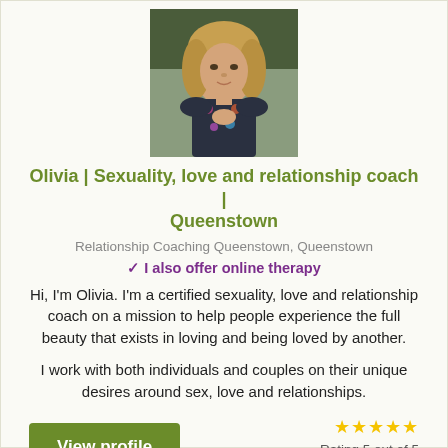[Figure (photo): Portrait photo of Olivia, a woman with blonde hair outdoors]
Olivia | Sexuality, love and relationship coach | Queenstown
Relationship Coaching Queenstown, Queenstown
✓ I also offer online therapy
Hi, I'm Olivia. I'm a certified sexuality, love and relationship coach on a mission to help people experience the full beauty that exists in loving and being loved by another.
I work with both individuals and couples on their unique desires around sex, love and relationships.
View profile
★★★★★ Rating 5 out of 5 based on 2 reviews